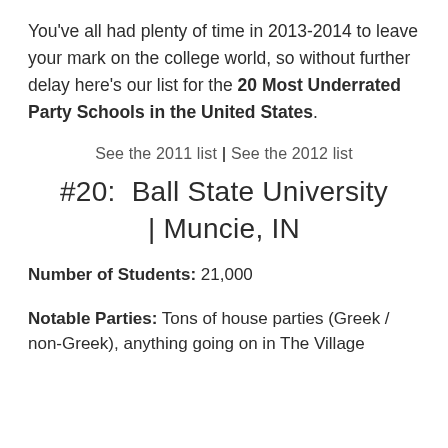You've all had plenty of time in 2013-2014 to leave your mark on the college world, so without further delay here's our list for the 20 Most Underrated Party Schools in the United States.
See the 2011 list | See the 2012 list
#20:  Ball State University | Muncie, IN
Number of Students: 21,000
Notable Parties: Tons of house parties (Greek / non-Greek), anything going on in The Village